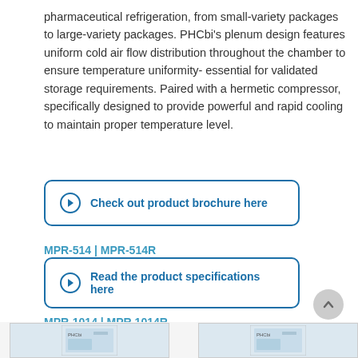pharmaceutical refrigeration, from small-variety packages to large-variety packages. PHCbi's plenum design features uniform cold air flow distribution throughout the chamber to ensure temperature uniformity- essential for validated storage requirements. Paired with a hermetic compressor, specifically designed to provide powerful and rapid cooling to maintain proper temperature level.
Check out product brochure here
MPR-514 | MPR-514R
Read the product specifications here
MPR-1014 | MPR 1014R
Read the product specifications here
[Figure (photo): Two PHCbi pharmaceutical refrigerator units shown at the bottom of the page, partial view]